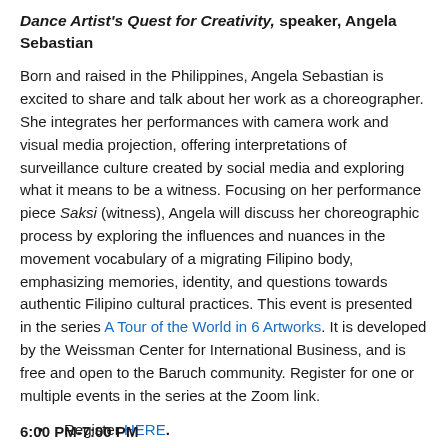Dance Artist's Quest for Creativity, speaker, Angela Sebastian
Born and raised in the Philippines, Angela Sebastian is excited to share and talk about her work as a choreographer. She integrates her performances with camera work and visual media projection, offering interpretations of surveillance culture created by social media and exploring what it means to be a witness. Focusing on her performance piece Saksi (witness), Angela will discuss her choreographic process by exploring the influences and nuances in the movement vocabulary of a migrating Filipino body, emphasizing memories, identity, and questions towards authentic Filipino cultural practices. This event is presented in the series A Tour of the World in 6 Artworks. It is developed by the Weissman Center for International Business, and is free and open to the Baruch community. Register for one or multiple events in the series at the Zoom link.
Register HERE.
6:00 PM-7:00 PM